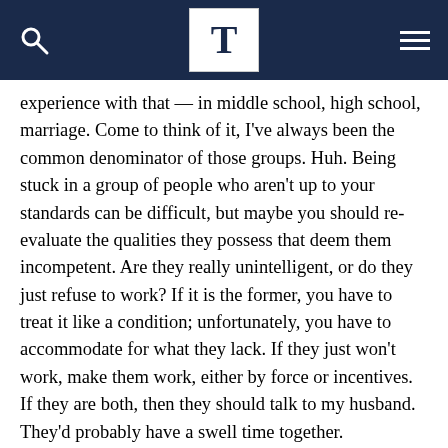T
experience with that — in middle school, high school, marriage. Come to think of it, I've always been the common denominator of those groups. Huh. Being stuck in a group of people who aren't up to your standards can be difficult, but maybe you should re-evaluate the qualities they possess that deem them incompetent. Are they really unintelligent, or do they just refuse to work? If it is the former, you have to treat it like a condition; unfortunately, you have to accommodate for what they lack. If they just won't work, make them work, either by force or incentives. If they are both, then they should talk to my husband. They'd probably have a swell time together.
Toodles,